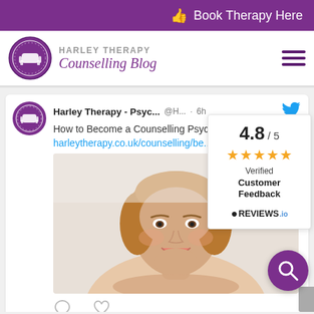Book Therapy Here
HARLEY THERAPY Counselling Blog
[Figure (screenshot): Tweet from Harley Therapy - Psyc... @H... · 6h with Twitter bird icon. Tweet text: How to Become a Counselling Psychologist? harleytherapy.co.uk/counselling/be... with a photo of a smiling woman. Tweet actions: comment and heart icons.]
[Figure (infographic): Rating overlay showing 4.8/5 with 5 orange stars, Verified Customer Feedback, REVIEWS.io logo]
[Figure (photo): Smiling woman with brown hair leaning forward, used as tweet image]
[Figure (other): Purple circular search button with magnifying glass icon in bottom right]